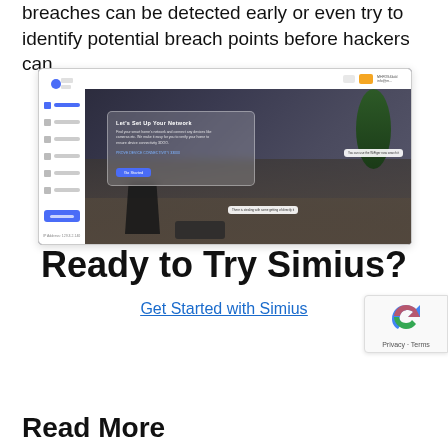breaches can be detected early or even try to identify potential breach points before hackers can.
[Figure (screenshot): Screenshot of Simius network security dashboard showing a home network setup wizard overlay on a living room background image. Left sidebar with navigation items, top bar with notifications and user account. Center modal reads 'Let's Set Up Your Network' with body text and a 'Go Started' blue button. Tooltips visible on the right side and bottom of the main area.]
Ready to Try Simius?
Get Started with Simius
[Figure (other): Google reCAPTCHA badge showing the reCAPTCHA logo and Privacy - Terms text]
Read More